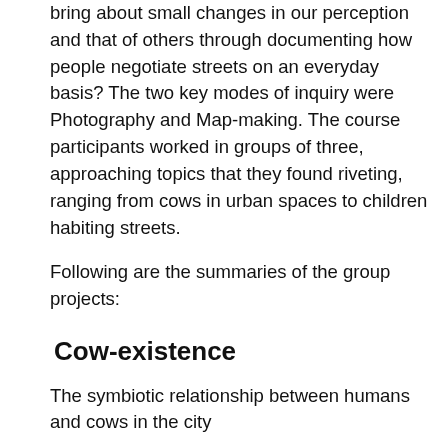bring about small changes in our perception and that of others through documenting how people negotiate streets on an everyday basis? The two key modes of inquiry were Photography and Map-making. The course participants worked in groups of three, approaching topics that they found riveting, ranging from cows in urban spaces to children habiting streets.
Following are the summaries of the group projects:
Cow-existence
The symbiotic relationship between humans and cows in the city
Cows play an integral role in everyday life in India. This study attempts to look at how cows affect people and how people affect cows in the urban space. It finds that the...